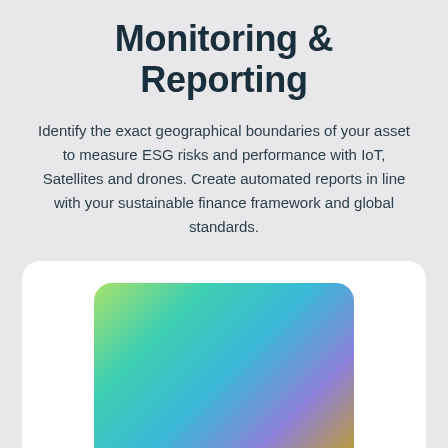Monitoring & Reporting
Identify the exact geographical boundaries of your asset to measure ESG risks and performance with IoT, Satellites and drones. Create automated reports in line with your sustainable finance framework and global standards.
[Figure (illustration): A white rounded card containing a rounded rectangle with a colorful gradient blending green, teal, blue, purple, and yellow tones.]